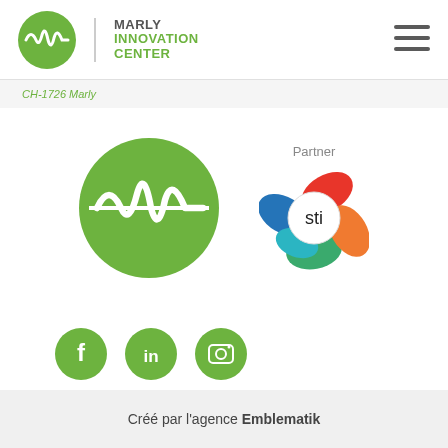[Figure (logo): Marly Innovation Center logo: green circle with white waveform, vertical grey divider, text MARLY INNOVATION CENTER]
[Figure (logo): Hamburger menu icon (three horizontal green lines)]
CH-1726 Marly
[Figure (logo): Large Marly Innovation Center green circle logo with white waveform symbol]
[Figure (logo): STI Partner logo: colorful swirl shape surrounding circle with 'sti' text, labeled Partner above]
[Figure (logo): Social media icons: Facebook (f), LinkedIn (in), Instagram (camera) — all green circles]
Créé par l'agence Emblematik